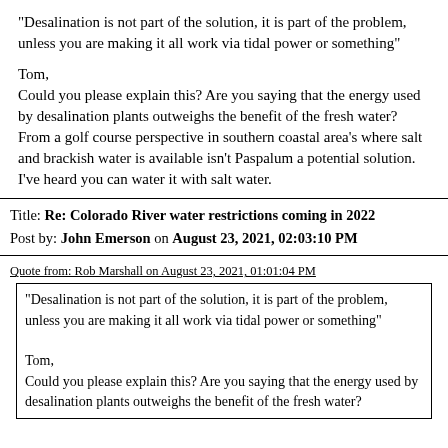"Desalination is not part of the solution, it is part of the problem, unless you are making it all work via tidal power or something"
Tom,
Could you please explain this? Are you saying that the energy used by desalination plants outweighs the benefit of the fresh water?
From a golf course perspective in southern coastal area's where salt and brackish water is available isn't Paspalum a potential solution. I've heard you can water it with salt water.
Title: Re: Colorado River water restrictions coming in 2022
Post by: John Emerson on August 23, 2021, 02:03:10 PM
Quote from: Rob Marshall on August 23, 2021, 01:01:04 PM
"Desalination is not part of the solution, it is part of the problem, unless you are making it all work via tidal power or something"

Tom,
Could you please explain this? Are you saying that the energy used by desalination plants outweighs the benefit of the fresh water?